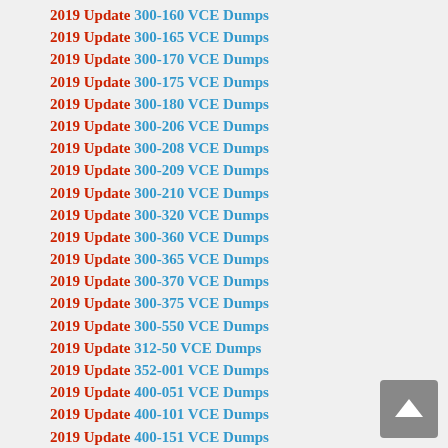2019 Update 300-160 VCE Dumps
2019 Update 300-165 VCE Dumps
2019 Update 300-170 VCE Dumps
2019 Update 300-175 VCE Dumps
2019 Update 300-180 VCE Dumps
2019 Update 300-206 VCE Dumps
2019 Update 300-208 VCE Dumps
2019 Update 300-209 VCE Dumps
2019 Update 300-210 VCE Dumps
2019 Update 300-320 VCE Dumps
2019 Update 300-360 VCE Dumps
2019 Update 300-365 VCE Dumps
2019 Update 300-370 VCE Dumps
2019 Update 300-375 VCE Dumps
2019 Update 300-550 VCE Dumps
2019 Update 312-50 VCE Dumps
2019 Update 352-001 VCE Dumps
2019 Update 400-051 VCE Dumps
2019 Update 400-101 VCE Dumps
2019 Update 400-151 VCE Dumps
2019 Update 400-201 VCE Dumps
2019 Update 400-251 VCE Dumps